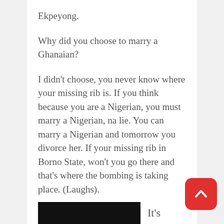Ekpeyong.
Why did you choose to marry a Ghanaian?
I didn't choose, you never know where your missing rib is. If you think because you are a Nigerian, you must marry a Nigerian, na lie. You can marry a Nigerian and tomorrow you divorce her. If your missing rib in Borno State, won't you go there and that's where the bombing is taking place. (Laughs).
And how is married life?
It's